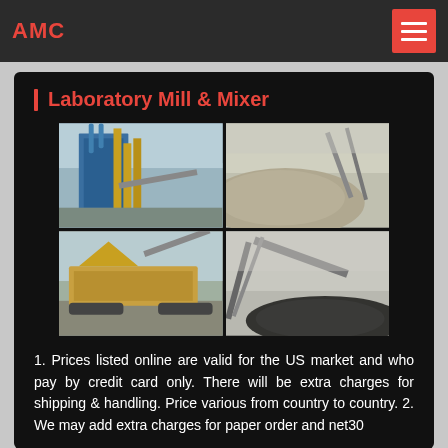AMC
Laboratory Mill & Mixer
[Figure (photo): Four industrial mining/crushing equipment photos arranged in a 2x2 grid: top-left shows a large industrial plant with blue structure and yellow scaffolding; top-right shows a pile of crushed stone aggregate with conveyor; bottom-left shows a mobile crushing plant on tracks; bottom-right shows a conveyor belt over a pile of dark aggregate.]
1. Prices listed online are valid for the US market and who pay by credit card only. There will be extra charges for shipping & handling. Price various from country to country. 2. We may add extra charges for paper order and net30